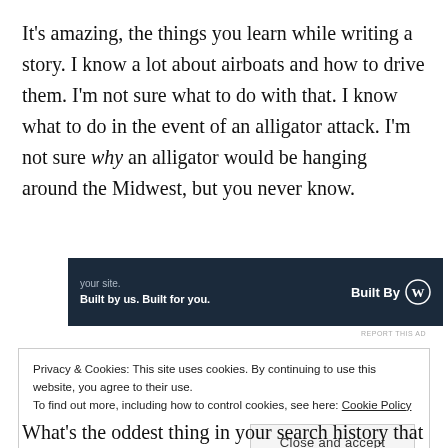It's amazing, the things you learn while writing a story. I know a lot about airboats and how to drive them. I'm not sure what to do with that. I know what to do in the event of an alligator attack. I'm not sure why an alligator would be hanging around the Midwest, but you never know.
[Figure (other): WordPress 'Built By' advertisement banner with dark navy background. Shows partial text 'your site. Built by us. Built for you.' on left and 'Built By' with WordPress logo on right.]
REPORT THIS AD
Privacy & Cookies: This site uses cookies. By continuing to use this website, you agree to their use.
To find out more, including how to control cookies, see here: Cookie Policy
Close and accept
What's the oddest thing in your search history that